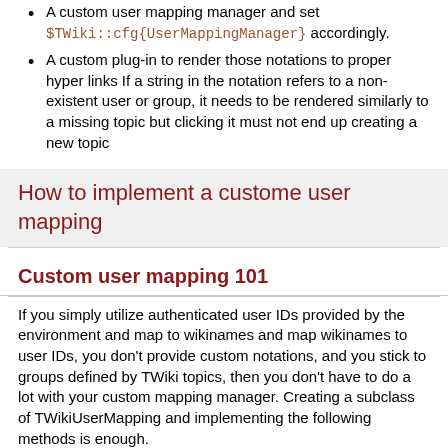A custom user mapping manager and set $TWiki::cfg{UserMappingManager} accordingly.
A custom plug-in to render those notations to proper hyper links If a string in the notation refers to a non-existent user or group, it needs to be rendered similarly to a missing topic but clicking it must not end up creating a new topic
How to implement a custome user mapping
Custom user mapping 101
If you simply utilize authenticated user IDs provided by the environment and map to wikinames and map wikinames to user IDs, you don't provide custom notations, and you stick to groups defined by TWiki topics, then you don't have to do a lot with your custom mapping manager. Creating a subclass of TWikiUserMapping and implementing the following methods is enough.
handlesUser()